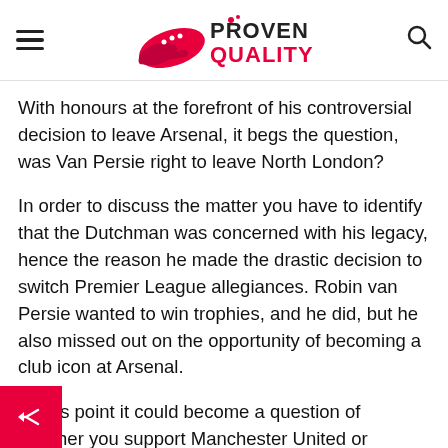PROVEN QUALITY
With honours at the forefront of his controversial decision to leave Arsenal, it begs the question, was Van Persie right to leave North London?
In order to discuss the matter you have to identify that the Dutchman was concerned with his legacy, hence the reason he made the drastic decision to switch Premier League allegiances. Robin van Persie wanted to win trophies, and he did, but he also missed out on the opportunity of becoming a club icon at Arsenal.
At this point it could become a question of whether you support Manchester United or Arsenal in whether you think he did the right thing, but the